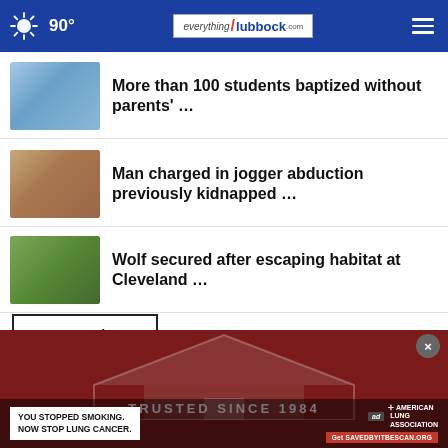everythingLubbock.com — 90°
More than 100 students baptized without parents' …
Man charged in jogger abduction previously kidnapped …
Wolf secured after escaping habitat at Cleveland …
More Stories ›
[Figure (photo): Advertisement banner for American Lung Association: YOU STOPPED SMOKING. NOW STOP LUNG CANCER. Get SAVEDBYITBESCAN.ORG. Background shows a red house/roofing company logo. Text: TRUSTED SINCE 1984]